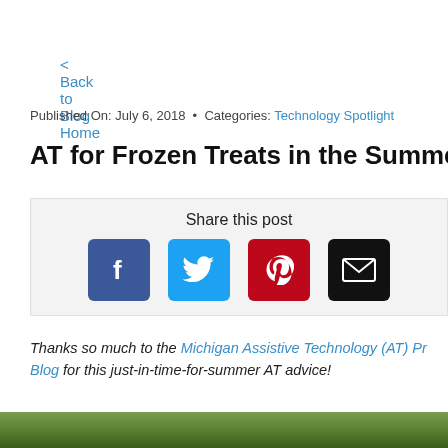< Back to Blog Home
Published On: July 6, 2018 • Categories: Technology Spotlight
AT for Frozen Treats in the Summer Hea…
Share this post
[Figure (infographic): Social share buttons: Facebook (blue), Twitter (light blue), Pinterest (red), Email (black)]
Thanks so much to the Michigan Assistive Technology (AT) Program Blog for this just-in-time-for-summer AT advice!
[Figure (photo): Close-up photo of a colorful frozen treat (ice cream/popsicle) with flowers or leaves in the background]